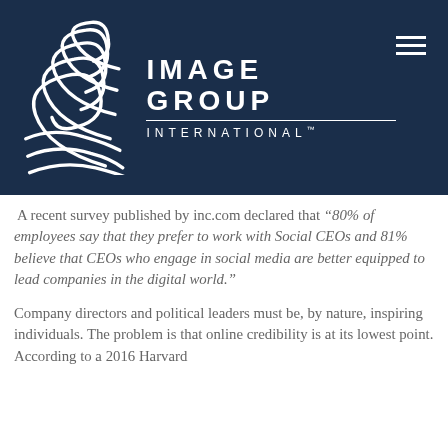[Figure (logo): Image Group International logo: white stylized leaf/feather graphic on dark navy background with company name IMAGE GROUP INTERNATIONAL in white caps lettering]
A recent survey published by inc.com declared that ‘80% of employees say that they prefer to work with Social CEOs and 81% believe that CEOs who engage in social media are better equipped to lead companies in the digital world.”
Company directors and political leaders must be, by nature, inspiring individuals. The problem is that online credibility is at its lowest point. According to a 2016 Harvard